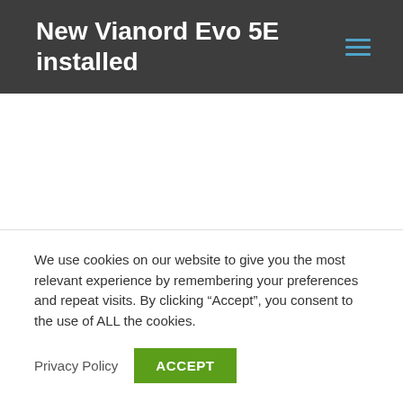New Vianord Evo 5E installed
We use cookies on our website to give you the most relevant experience by remembering your preferences and repeat visits. By clicking “Accept”, you consent to the use of ALL the cookies.
Privacy Policy  ACCEPT